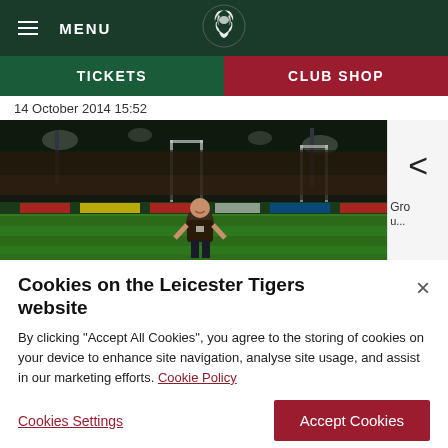MENU | Leicester Tigers logo
TICKETS | CLUB SHOP
14 October 2014 15:52
[Figure (photo): Man standing on a rugby stadium pitch at night with crowd in background]
Cookies on the Leicester Tigers website
By clicking “Accept All Cookies”, you agree to the storing of cookies on your device to enhance site navigation, analyse site usage, and assist in our marketing efforts. Cookie Policy
Cookies Settings | Accept Cookies